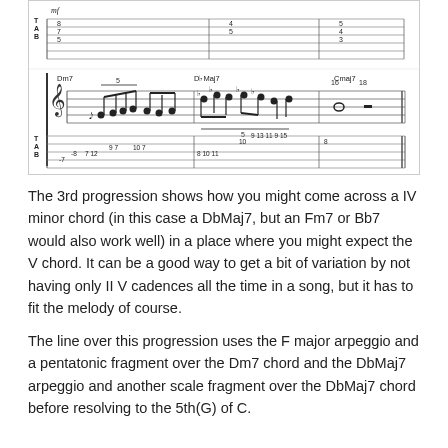[Figure (illustration): Sheet music notation with guitar tablature showing a jazz progression through Dm7, DbMaj7, and Cmaj7 chords, with TAB numbers indicating fret positions on guitar strings]
The 3rd progression shows how you might come across a IV minor chord (in this case a DbMaj7, but an Fm7 or Bb7 would also work well) in a place where you might expect the V chord. It can be a good way to get a bit of variation by not having only II V cadences all the time in a song, but it has to fit the melody of course.
The line over this progression uses the F major arpeggio and a pentatonic fragment over the Dm7 chord and the DbMaj7 arpeggio and another scale fragment over the DbMaj7 chord before resolving to the 5th(G) of C.